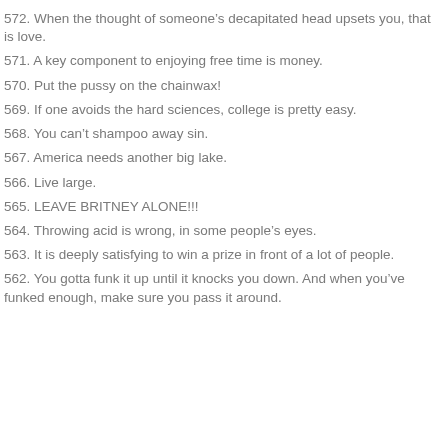572. When the thought of someone's decapitated head upsets you, that is love.
571. A key component to enjoying free time is money.
570. Put the pussy on the chainwax!
569. If one avoids the hard sciences, college is pretty easy.
568. You can't shampoo away sin.
567. America needs another big lake.
566. Live large.
565. LEAVE BRITNEY ALONE!!!
564. Throwing acid is wrong, in some people's eyes.
563. It is deeply satisfying to win a prize in front of a lot of people.
562. You gotta funk it up until it knocks you down. And when you've funked enough, make sure you pass it around.